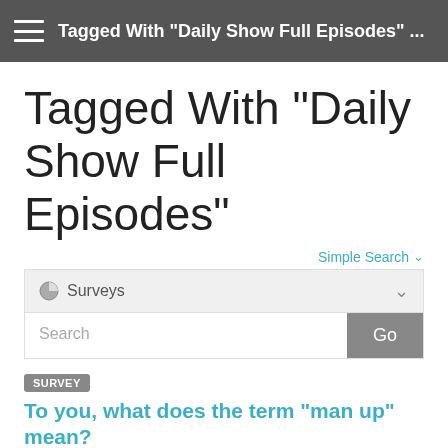Tagged With "Daily Show Full Episodes" ...
Tagged With "Daily Show Full Episodes"
Simple Search ▾
[Figure (screenshot): Search widget with Surveys dropdown and Search input with Go button]
SURVEY
To you, what does the term "man up" mean?
EBONYROSE · 8/14/09  @  5:44 PM
SURVEY
Washington Post Article (oct. 31, 2004):